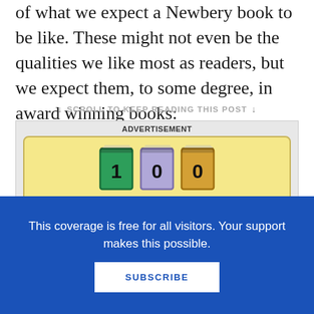of what we expect a Newbery book to be like. These might not even be the qualities we like most as readers, but we expect them, to some degree, in award winning books:
↓  SCROLL TO KEEP READING THIS POST  ↓
[Figure (illustration): Advertisement for '100 Scope Notes' showing colorful illustrated books — three upright books labeled '1', '0', '0' and two open books labeled 'Scope' and 'Notes' on a yellow background, with tagline 'Get the essential scoop on']
This coverage is free for all visitors. Your support makes this possible.
SUBSCRIBE